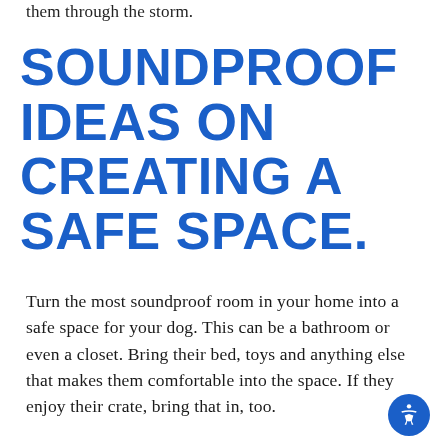them through the storm.
SOUNDPROOF IDEAS ON CREATING A SAFE SPACE.
Turn the most soundproof room in your home into a safe space for your dog. This can be a bathroom or even a closet. Bring their bed, toys and anything else that makes them comfortable into the space. If they enjoy their crate, bring that in, too.